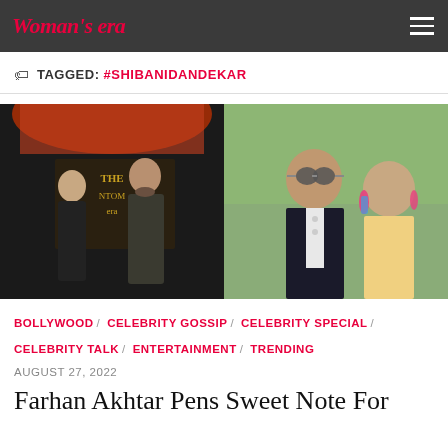Woman's era
TAGGED: #SHIBANIDANDEKAR
[Figure (photo): Two-panel photo collage: left panel shows a woman and a tall bearded man in dark clothing standing in front of a backdrop reading 'THE (PHAN)TOM (OF THE) (O)ERA'; right panel shows a man wearing round sunglasses and a woman with colorful earrings smiling together outdoors.]
BOLLYWOOD / CELEBRITY GOSSIP / CELEBRITY SPECIAL / CELEBRITY TALK / ENTERTAINMENT / TRENDING
AUGUST 27, 2022
Farhan Akhtar Pens Sweet Note For